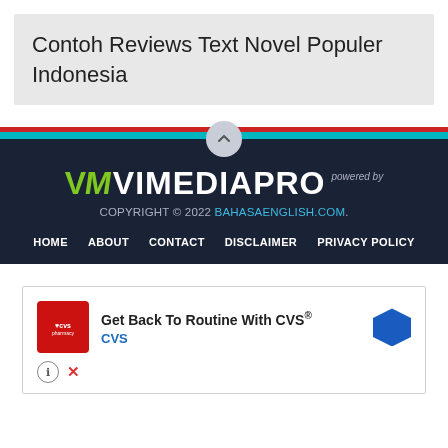Contoh Reviews Text Novel Populer Indonesia
[Figure (logo): VIMEDIAPRO logo with powered by text]
COPYRIGHT © 2022 BAHASAENGLISH.COM.
HOME  ABOUT  CONTACT  DISCLAIMER  PRIVACY POLICY
[Figure (screenshot): CVS pharmacy advertisement: Get Back To Routine With CVS®, CVS link, with CVS logo and navigation arrow icon]